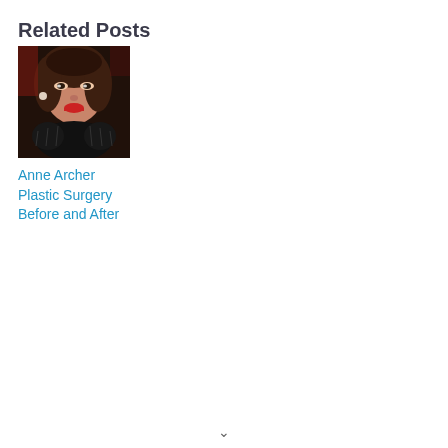Related Posts
[Figure (photo): Portrait photo of Anne Archer, a woman with dark hair and red lipstick wearing a black fur-trimmed outfit, smiling at a formal event.]
Anne Archer Plastic Surgery Before and After